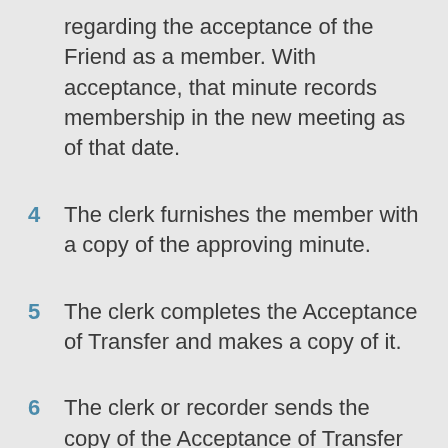regarding the acceptance of the Friend as a member. With acceptance, that minute records membership in the new meeting as of that date.
4   The clerk furnishes the member with a copy of the approving minute.
5   The clerk completes the Acceptance of Transfer and makes a copy of it.
6   The clerk or recorder sends the copy of the Acceptance of Transfer to the clerk of the member's originating meeting.
7   The Certificate of Transfer and the